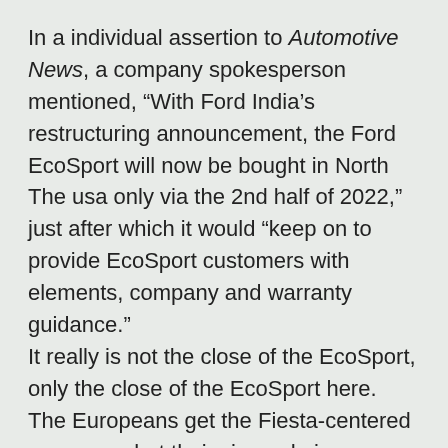In a individual assertion to Automotive News, a company spokesperson mentioned, “With Ford India’s restructuring announcement, the Ford EcoSport will now be bought in North The usa only via the 2nd half of 2022,” just after which it would “keep on to provide EcoSport customers with elements, company and warranty guidance.”
It really is not the close of the EcoSport, only the close of the EcoSport here. The Europeans get the Fiesta-centered crossover, but theirs is made in Romania, and it will continue being produced there. Our variation, on sale given that the final number of months of 2017, came from an assembly plant in Chennai, India that will be shuttered by the end of June 2022. Product sales weren’t terrible via the stop